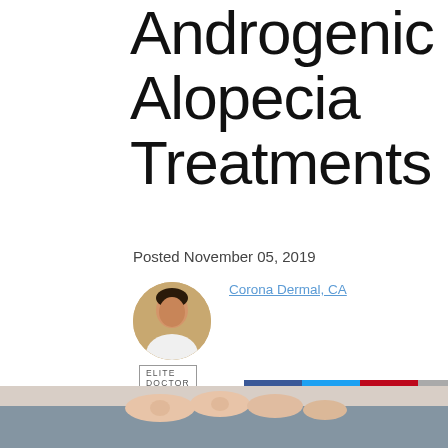Androgenic Alopecia Treatments
Posted November 05, 2019
Corona Dermal, CA
ELITE DOCTOR
[Figure (screenshot): Social sharing buttons: Facebook, Twitter, Pinterest, Email, and scroll-to-top arrow]
[Figure (photo): Close-up photo of fingers/hand, partially visible at bottom of page]